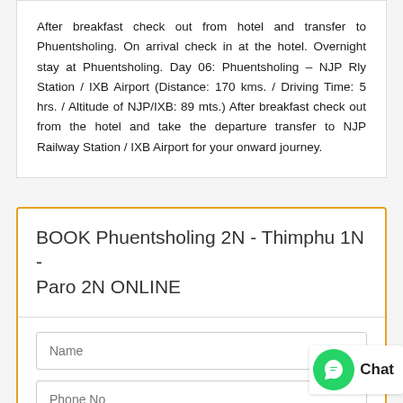After breakfast check out from hotel and transfer to Phuentsholing. On arrival check in at the hotel. Overnight stay at Phuentsholing. Day 06: Phuentsholing – NJP Rly Station / IXB Airport (Distance: 170 kms. / Driving Time: 5 hrs. / Altitude of NJP/IXB: 89 mts.) After breakfast check out from the hotel and take the departure transfer to NJP Railway Station / IXB Airport for your onward journey.
BOOK Phuentsholing 2N - Thimphu 1N - Paro 2N ONLINE
Name
Phone No